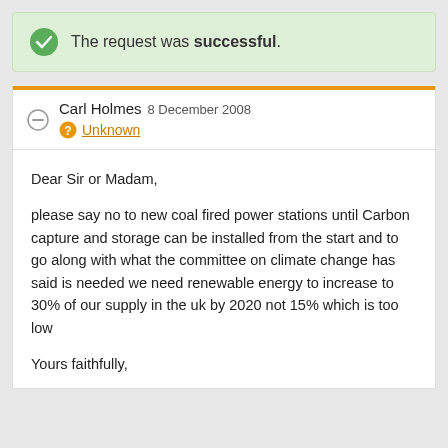The request was successful.
Carl Holmes 8 December 2008
Unknown
Dear Sir or Madam,

please say no to new coal fired power stations until Carbon capture and storage can be installed from the start and to go along with what the committee on climate change has said is needed we need renewable energy to increase to 30% of our supply in the uk by 2020 not 15% which is too low

Yours faithfully,